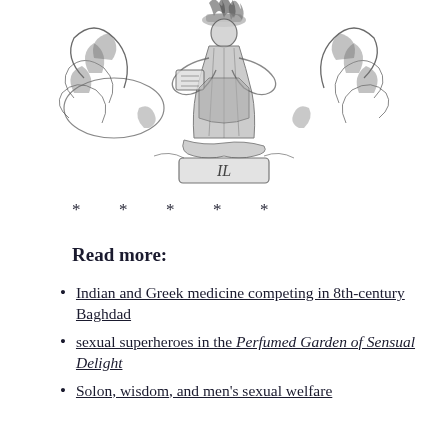[Figure (illustration): Antique heraldic emblem/crest engraving in black and white, showing a crowned figure with foliage, scrollwork, and the letters 'IL' at the base.]
* * * * *
Read more:
Indian and Greek medicine competing in 8th-century Baghdad
sexual superheroes in the Perfumed Garden of Sensual Delight
Solon, wisdom, and men's sexual welfare